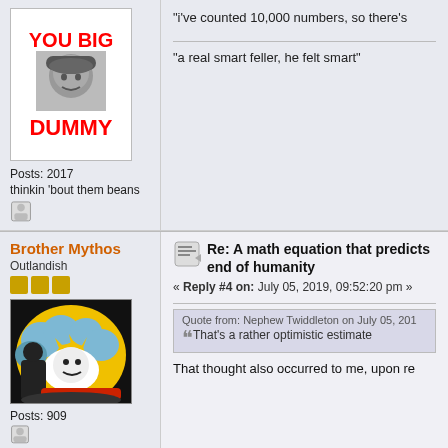[Figure (illustration): Forum post avatar showing a meme image with text YOU BIG DUMMY and a black-and-white photo of a man's face]
Posts: 2017
thinkin 'bout them beans
"i've counted 10,000 numbers, so there's
"a real smart feller, he felt smart"
Brother Mythos
Outlandish
Re: A math equation that predicts end of humanity
« Reply #4 on: July 05, 2019, 09:52:20 pm »
Quote from: Nephew Twiddleton on July 05, 201
That's a rather optimistic estimate
That thought also occurred to me, upon re
Posts: 909
[Figure (illustration): Forum avatar showing a colorful cartoon image resembling Calvin and Hobbes style art with an explosion scene]